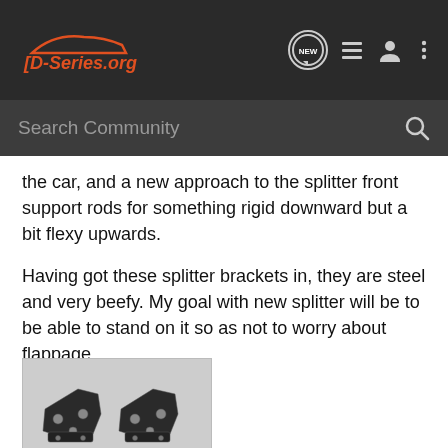D-Series.org — navigation bar with NEW, list, user, and menu icons
Search Community
the car, and a new approach to the splitter front support rods for something rigid downward but a bit flexy upwards.
Having got these splitter brackets in, they are steel and very beefy. My goal with new splitter will be to be able to stand on it so as not to worry about flappage.
[Figure (photo): Two black metal splitter brackets laid flat on a white surface, with mounting holes and hardware visible, plus a small bag of fasteners below them. Black and white photograph.]